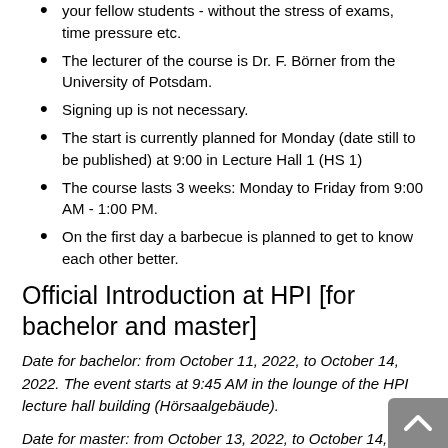your fellow students - without the stress of exams, time pressure etc.
The lecturer of the course is Dr. F. Börner from the University of Potsdam.
Signing up is not necessary.
The start is currently planned for Monday (date still to be published) at 9:00 in Lecture Hall 1 (HS 1)
The course lasts 3 weeks: Monday to Friday from 9:00 AM - 1:00 PM.
On the first day a barbecue is planned to get to know each other better.
Official Introduction at HPI [for bachelor and master]
Date for bachelor: from October 11, 2022, to October 14, 2022. The event starts at 9:45 AM in the lounge of the HPI lecture hall building (Hörsaalgebäude).
Date for master: from October 13, 2022, to October 14, 2022. The event starts at 8:45 AM in the lounge of the